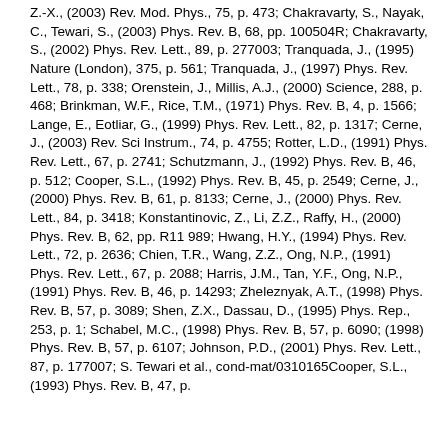Z.-X., (2003) Rev. Mod. Phys., 75, p. 473; Chakravarty, S., Nayak, C., Tewari, S., (2003) Phys. Rev. B, 68, pp. 100504R; Chakravarty, S., (2002) Phys. Rev. Lett., 89, p. 277003; Tranquada, J., (1995) Nature (London), 375, p. 561; Tranquada, J., (1997) Phys. Rev. Lett., 78, p. 338; Orenstein, J., Millis, A.J., (2000) Science, 288, p. 468; Brinkman, W.F., Rice, T.M., (1971) Phys. Rev. B, 4, p. 1566; Lange, E., Eotliar, G., (1999) Phys. Rev. Lett., 82, p. 1317; Cerne, J., (2003) Rev. Sci Instrum., 74, p. 4755; Rotter, L.D., (1991) Phys. Rev. Lett., 67, p. 2741; Schutzmann, J., (1992) Phys. Rev. B, 46, p. 512; Cooper, S.L., (1992) Phys. Rev. B, 45, p. 2549; Cerne, J., (2000) Phys. Rev. B, 61, p. 8133; Cerne, J., (2000) Phys. Rev. Lett., 84, p. 3418; Konstantinovic, Z., Li, Z.Z., Raffy, H., (2000) Phys. Rev. B, 62, pp. R11 989; Hwang, H.Y., (1994) Phys. Rev. Lett., 72, p. 2636; Chien, T.R., Wang, Z.Z., Ong, N.P., (1991) Phys. Rev. Lett., 67, p. 2088; Harris, J.M., Tan, Y.F., Ong, N.P., (1991) Phys. Rev. B, 46, p. 14293; Zheleznyak, A.T., (1998) Phys. Rev. B, 57, p. 3089; Shen, Z.X., Dassau, D., (1995) Phys. Rep., 253, p. 1; Schabel, M.C., (1998) Phys. Rev. B, 57, p. 6090; (1998) Phys. Rev. B, 57, p. 6107; Johnson, P.D., (2001) Phys. Rev. Lett., 87, p. 177007; S. Tewari et al., cond-mat/0310165Cooper, S.L., (1993) Phys. Rev. B, 47, p.